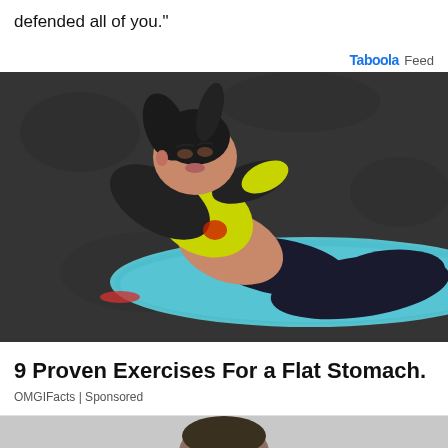defended all of you."
Taboola Feed
[Figure (photo): Woman in yellow and black athletic wear doing sit-ups on a blue yoga mat on dark pavement]
9 Proven Exercises For a Flat Stomach.
OMGIFacts | Sponsored
[Figure (photo): Partial photo of a person, top of head visible, gray background]